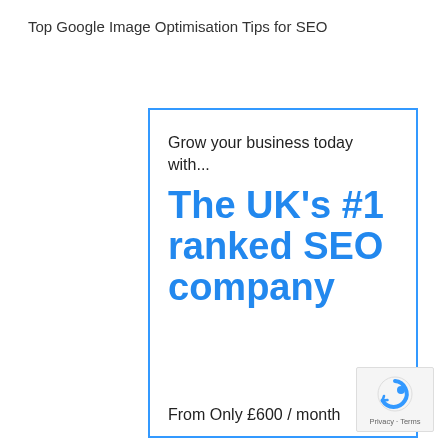Top Google Image Optimisation Tips for SEO
[Figure (screenshot): Advertisement box with blue border: tagline 'Grow your business today with...' followed by large blue bold text 'The UK's #1 ranked SEO company' and footer text 'From Only £600 / month']
From Only £600 / month